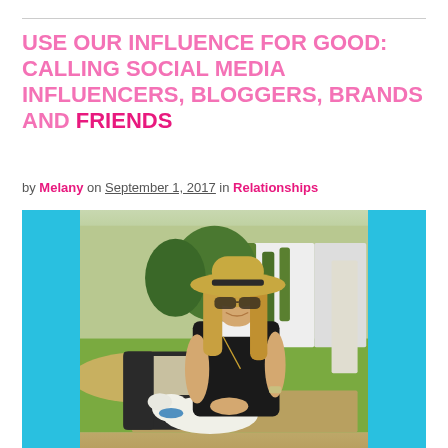USE OUR INFLUENCE FOR GOOD: CALLING SOCIAL MEDIA INFLUENCERS, BLOGGERS, BRANDS AND FRIENDS
by Melany on September 1, 2017 in Relationships
[Figure (photo): Woman with long blonde hair wearing a wide-brim straw hat and sunglasses, dressed in a black sleeveless outfit, sitting on outdoor wicker furniture, with a white dog resting beside her, in a backyard with green lawn and white walls with climbing plants]